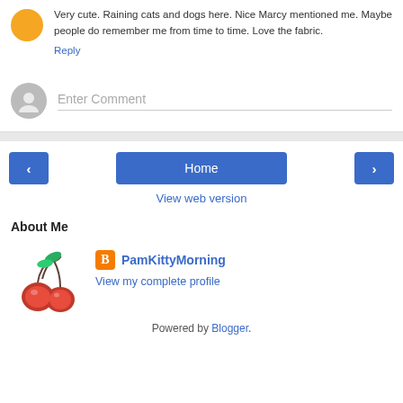Very cute. Raining cats and dogs here. Nice Marcy mentioned me. Maybe people do remember me from time to time. Love the fabric.
Reply
Enter Comment
Home
View web version
About Me
PamKittyMorning
View my complete profile
Powered by Blogger.